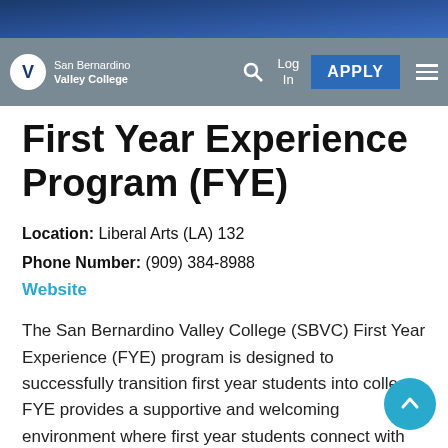[Figure (logo): San Bernardino Valley College logo and navigation bar with search, Log In, APPLY button, and hamburger menu]
First Year Experience Program (FYE)
Location: Liberal Arts (LA) 132
Phone Number: (909) 384-8988
Website
The San Bernardino Valley College (SBVC) First Year Experience (FYE) program is designed to successfully transition first year students into college. FYE provides a supportive and welcoming environment where first year students connect with student support services on campus to ensure student success.